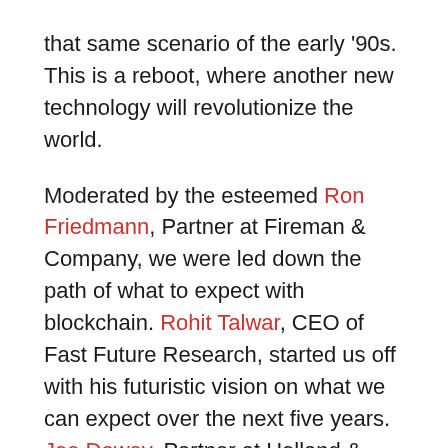that same scenario of the early '90s. This is a reboot, where another new technology will revolutionize the world.
Moderated by the esteemed Ron Friedmann, Partner at Fireman & Company, we were led down the path of what to expect with blockchain. Rohit Talwar, CEO of Fast Future Research, started us off with his futuristic vision on what we can expect over the next five years. Joe Dewey, Partner at Holland & Knight, who specializes in blockchain, discussed the law and smart contracts. Lastly, Tori Adams, a data scientist at Booz Allen Hamilton, illustrated her predictions on the reality of this technology in